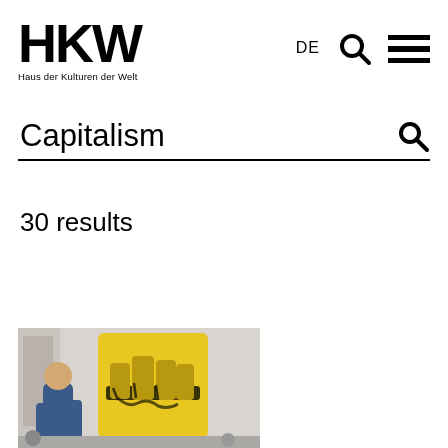HKW — Haus der Kulturen der Welt
DE
Capitalism
30 results
[Figure (photo): Person painting a large yellow raised fist graffiti on a wall, viewed from behind]